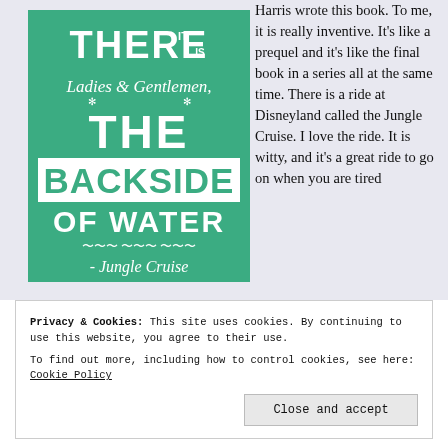[Figure (illustration): A teal/green square book cover with white text reading 'THERE IT IS Ladies & Gentlemen, THE BACKSIDE OF WATER - Jungle Cruise']
Harris wrote this book. To me, it is really inventive. It's like a prequel and it's like the final book in a series all at the same time. There is a ride at Disneyland called the Jungle Cruise. I love the ride. It is witty, and it's a great ride to go on when you are tired
Privacy & Cookies: This site uses cookies. By continuing to use this website, you agree to their use.
To find out more, including how to control cookies, see here: Cookie Policy
Close and accept
laugh, at least from me. I mention this because that's